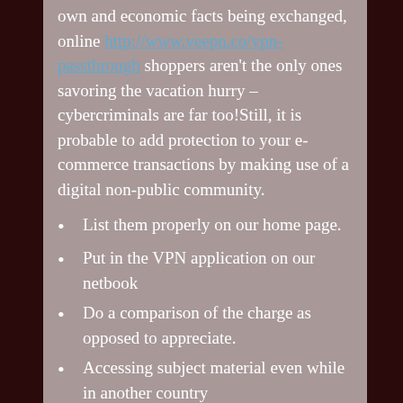own and economic facts being exchanged, online http://www.veepn.co/vpn-passthrough shoppers aren't the only ones savoring the vacation hurry – cybercriminals are far too!Still, it is probable to add protection to your e-commerce transactions by making use of a digital non-public community.
List them properly on our home page.
Put in the VPN application on our netbook
Do a comparison of the charge as opposed to appreciate.
Accessing subject material even while in another country
See if they enable torrenting and P2P.